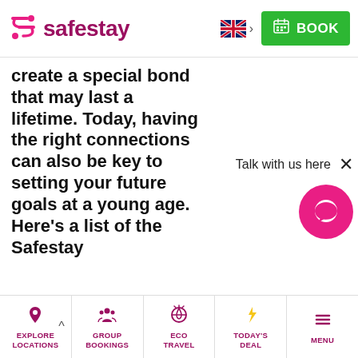[Figure (logo): Safestay logo with pink S-shaped icon and purple text]
create a special bond that may last a lifetime. Today, having the right connections can also be key to setting your future goals at a young age. Here's a list of the Safestay
[Figure (screenshot): Chat widget with 'Talk with us here' label, close X button, and pink circle chat bubble icon]
EXPLORE LOCATIONS | GROUP BOOKINGS | ECO TRAVEL | TODAY'S DEAL | MENU